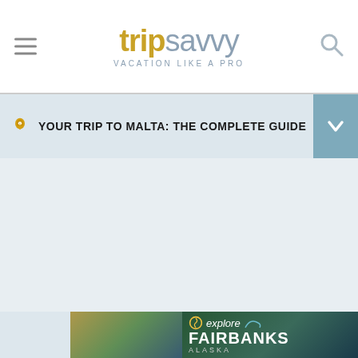[Figure (logo): TripSavvy logo with hamburger menu on left and search icon on right. Logo text: 'trip' in gold/yellow bold, 'savvy' in grey light weight. Tagline: 'VACATION LIKE A PRO']
YOUR TRIP TO MALTA: THE COMPLETE GUIDE
[Figure (screenshot): Explore Fairbanks Alaska advertisement banner with aurora borealis background, spiral logo icon, and white text]
Ad